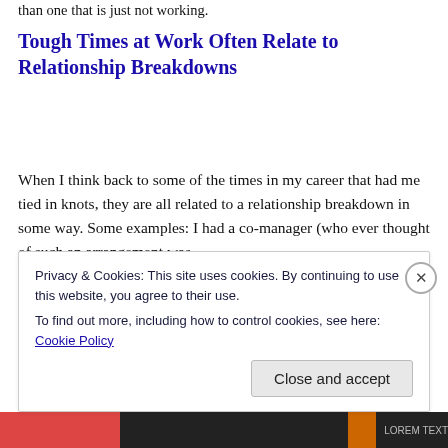than one that is just not working.
Tough Times at Work Often Relate to Relationship Breakdowns
When I think back to some of the times in my career that had me tied in knots, they are all related to a relationship breakdown in some way. Some examples: I had a co-manager (who ever thought of such an arrangement was
Privacy & Cookies: This site uses cookies. By continuing to use this website, you agree to their use.
To find out more, including how to control cookies, see here: Cookie Policy
Close and accept